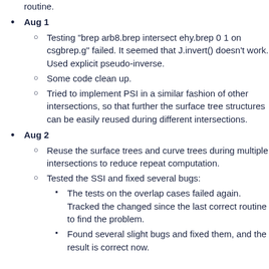routine.
Aug 1
Testing "brep arb8.brep intersect ehy.brep 0 1 on csgbrep.g" failed. It seemed that J.invert() doesn't work. Used explicit pseudo-inverse.
Some code clean up.
Tried to implement PSI in a similar fashion of other intersections, so that further the surface tree structures can be easily reused during different intersections.
Aug 2
Reuse the surface trees and curve trees during multiple intersections to reduce repeat computation.
Tested the SSI and fixed several bugs:
The tests on the overlap cases failed again. Tracked the changed since the last correct routine to find the problem.
Found several slight bugs and fixed them, and the result is correct now.